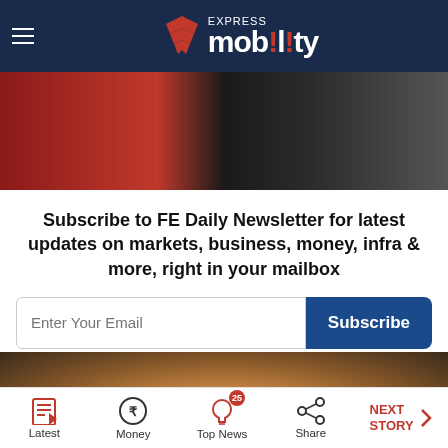Express Mobility
[Figure (photo): Top image showing colorful confetti and people in background]
Subscribe to FE Daily Newsletter for latest updates on markets, business, money, infra & more, right in your mailbox
[Figure (photo): Bottom image showing a smiling woman outdoors]
Latest | Money | Top News (25) | Share | NEXT STORY